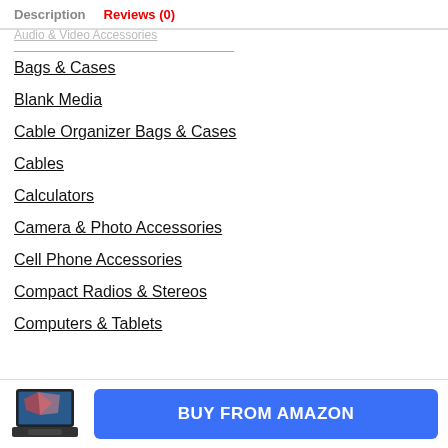Description  Reviews (0)
Audio & Video Accessories
Bags & Cases
Blank Media
Cable Organizer Bags & Cases
Cables
Calculators
Camera & Photo Accessories
Cell Phone Accessories
Compact Radios & Stereos
Computers & Tablets
[Figure (screenshot): Laptop product thumbnail image]
BUY FROM AMAZON